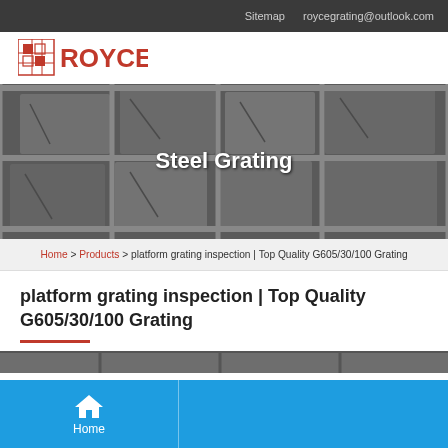Sitemap   roycegrating@outlook.com
[Figure (logo): ROYCE logo with red grid icon and red ROYCE text]
[Figure (photo): Close-up photo of steel grating panels with title 'Steel Grating' overlaid in white bold text]
Home > Products > platform grating inspection | Top Quality G605/30/100 Grating
platform grating inspection | Top Quality G605/30/100 Grating
[Figure (photo): Partial view of steel grating product image at bottom of page]
Home